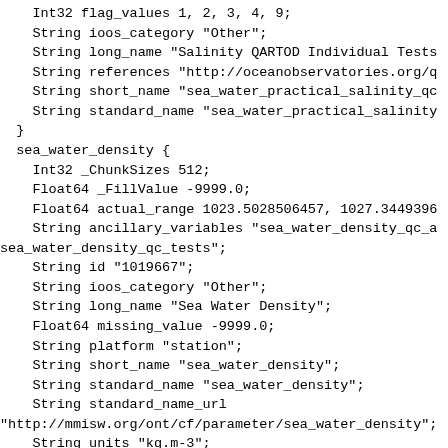Int32 flag_values 1, 2, 3, 4, 9;
    String ioos_category "Other";
    String long_name "Salinity QARTOD Individual Tests
    String references "http://oceanobservatories.org/q
    String short_name "sea_water_practical_salinity_qc
    String standard_name "sea_water_practical_salinity
  }
  sea_water_density {
    Int32 _ChunkSizes 512;
    Float64 _FillValue -9999.0;
    Float64 actual_range 1023.5028506457, 1027.3449396
    String ancillary_variables "sea_water_density_qc_a
sea_water_density_qc_tests";
    String id "1019667";
    String ioos_category "Other";
    String long_name "Sea Water Density";
    Float64 missing_value -9999.0;
    String platform "station";
    String short_name "sea_water_density";
    String standard_name "sea_water_density";
    String standard_name_url
"http://mmisw.org/ont/cf/parameter/sea_water_density";
    String units "kg.m-3";
  }
  sea_water_density_qc_agg {
    Int32 _ChunkSizes 4096;